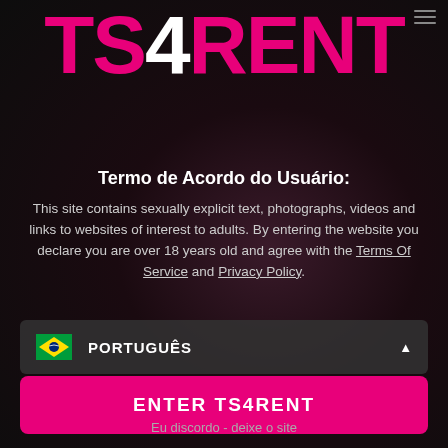[Figure (logo): TS4RENT logo in large bold pink text with white '4', on dark background with partial photo of person with red hair]
Termo de Acordo do Usuário:
This site contains sexually explicit text, photographs, videos and links to websites of interest to adults. By entering the website you declare you are over 18 years old and agree with the Terms Of Service and Privacy Policy.
🇧🇷 PORTUGUÊS ▲
ENTER TS4RENT
Eu discordo - deixe o site